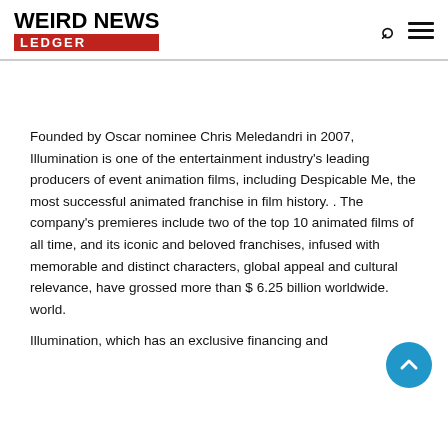WEIRD NEWS LEDGER
Founded by Oscar nominee Chris Meledandri in 2007, Illumination is one of the entertainment industry's leading producers of event animation films, including Despicable Me, the most successful animated franchise in film history. . The company's premieres include two of the top 10 animated films of all time, and its iconic and beloved franchises, infused with memorable and distinct characters, global appeal and cultural relevance, have grossed more than $ 6.25 billion worldwide. world.
Illumination, which has an exclusive financing and